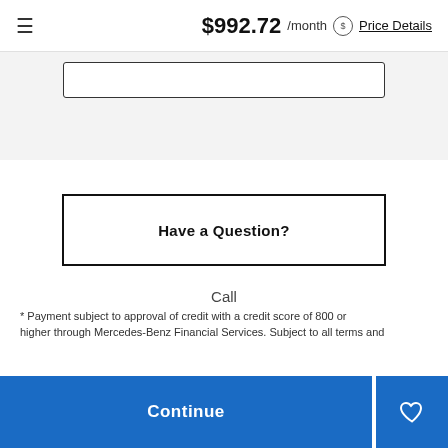≡   $992.72 /month  ⓢ Price Details
[Figure (screenshot): Gray panel with a white input field stub at the top]
Have a Question?
Call
* Payment subject to approval of credit with a credit score of 800 or higher through Mercedes-Benz Financial Services. Subject to all terms and...
Continue